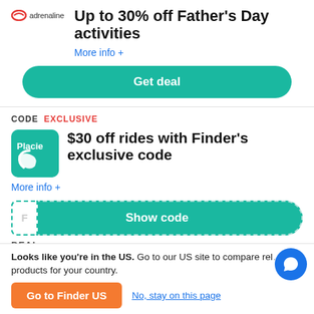[Figure (logo): Adrenaline logo with red swoosh icon and text 'adrenaline']
Up to 30% off Father's Day activities
More info +
Get deal
CODE  EXCLUSIVE
[Figure (logo): Placie logo: teal square with rounded corners showing 'Placie' text and a white P-arrow icon]
$30 off rides with Finder's exclusive code
More info +
Show code
DEAL
Looks like you're in the US. Go to our US site to compare relevant products for your country.
Go to Finder US
No, stay on this page